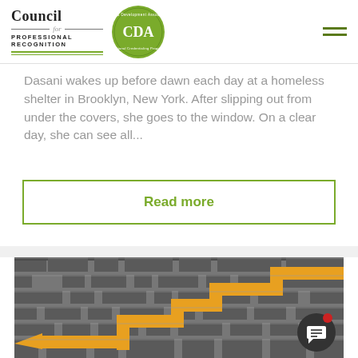Council for Professional Recognition | CDA
Dasani wakes up before dawn each day at a homeless shelter in Brooklyn, New York. After slipping out from under the covers, she goes to the window. On a clear day, she can see all...
Read more
[Figure (photo): 3D rendered maze viewed from above at an angle, with a yellow/orange arrow path navigating through grey concrete walls, showing the solution route through the labyrinth]